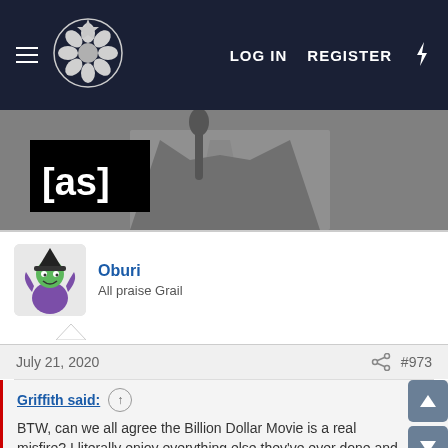LOG IN  REGISTER
[Figure (screenshot): Screenshot of a video/image with [as] Adult Swim logo overlay on left, showing a man in a suit at a microphone]
Oburi
All praise Grail
July 21, 2020  #973
Griffith said: ↑
BTW, can we all agree the Billion Dollar Movie is a real misfire? I literally enjoy everything else they've ever done and yet found it embarrassingly uninspired and genuinely unfunny. This was not their format to be sure, and the end result makes me think they